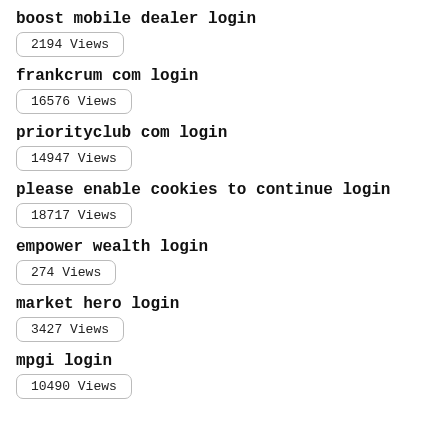boost mobile dealer login
2194 Views
frankcrum com login
16576 Views
priorityclub com login
14947 Views
please enable cookies to continue login
18717 Views
empower wealth login
274 Views
market hero login
3427 Views
mpgi login
10490 Views